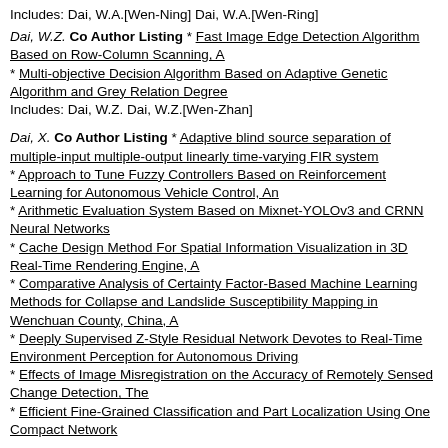Includes: Dai, W.A.[Wen-Ning] Dai, W.A.[Wen-Ring]
Dai, W.Z. Co Author Listing * Fast Image Edge Detection Algorithm Based on Row-Column Scanning, A
* Multi-objective Decision Algorithm Based on Adaptive Genetic Algorithm and Grey Relation Degree
Includes: Dai, W.Z. Dai, W.Z.[Wen-Zhan]
Dai, X. Co Author Listing * Adaptive blind source separation of multiple-input multiple-output linearly time-varying FIR system
* Approach to Tune Fuzzy Controllers Based on Reinforcement Learning for Autonomous Vehicle Control, An
* Arithmetic Evaluation System Based on Mixnet-YOLOv3 and CRNN Neural Networks
* Cache Design Method For Spatial Information Visualization in 3D Real-Time Rendering Engine, A
* Comparative Analysis of Certainty Factor-Based Machine Learning Methods for Collapse and Landslide Susceptibility Mapping in Wenchuan County, China, A
* Deeply Supervised Z-Style Residual Network Devotes to Real-Time Environment Perception for Autonomous Driving
* Effects of Image Misregistration on the Accuracy of Remotely Sensed Change Detection, The
* Efficient Fine-Grained Classification and Part Localization Using One Compact Network